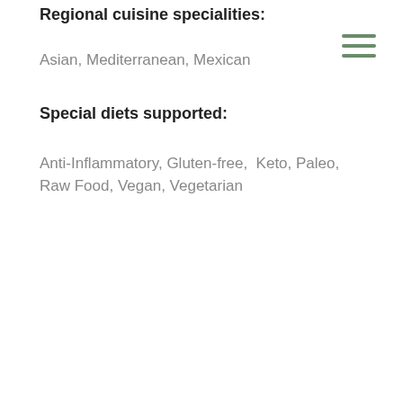Regional cuisine specialities:
Asian, Mediterranean, Mexican
Special diets supported:
Anti-Inflammatory, Gluten-free,  Keto, Paleo, Raw Food, Vegan, Vegetarian